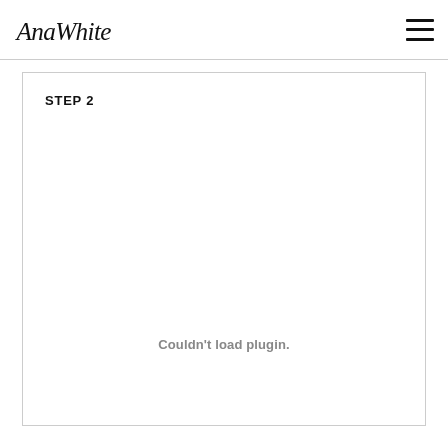AnaWhite [logo] [hamburger menu]
STEP 2
[Figure (other): Empty content area with plugin load error message: Couldn't load plugin.]
Couldn't load plugin.